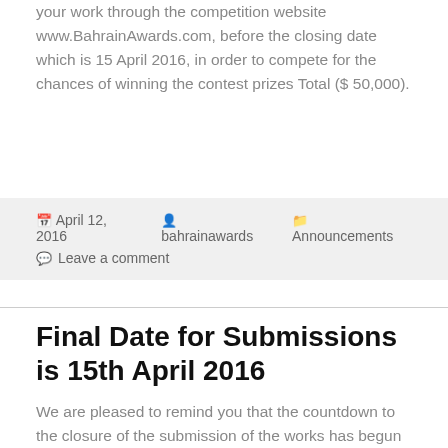your work through the competition website www.BahrainAwards.com, before the closing date which is 15 April 2016, in order to compete for the chances of winning the contest prizes Total ($ 50,000).
April 12, 2016   bahrainawards   Announcements   Leave a comment
Final Date for Submissions is 15th April 2016
We are pleased to remind you that the countdown to the closure of the submission of the works has begun (only 5 days left), please upload your work through the competition website www.BahrainAwards.com, before the closing date